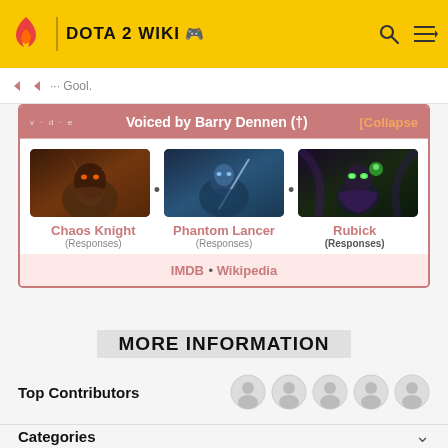DOTA 2 WIKI
Voiced by Barry Dennen (†) [Collapse]
[Figure (illustration): Three Dota 2 hero portrait images: Chaos Knight, Phantom Lancer, Rubick, separated by bullet dot separators]
Chaos Knight (Responses) • Phantom Lancer (Responses) • Rubick (Responses)
IMDB • Wikipedia
MORE INFORMATION
Top Contributors
Categories